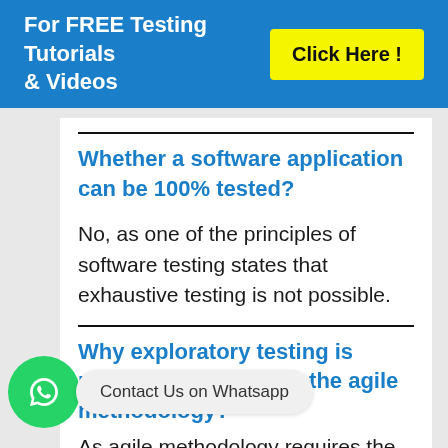For FREE Testing Tutorials & Videos  Click Here !
Whether a software application can be 100% tested?
No, as one of the principles of software testing states that exhaustive testing is not possible.
Why exploratory testing is preferred and used in the agile methodology?
As agile methodology requires the